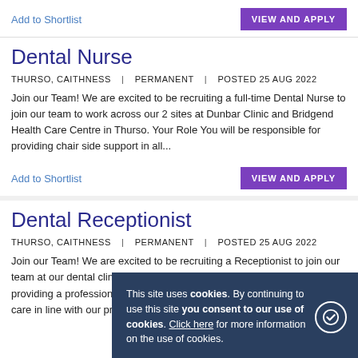Add to Shortlist
VIEW AND APPLY
Dental Nurse
THURSO, CAITHNESS | PERMANENT | POSTED 25 AUG 2022
Join our Team! We are excited to be recruiting a full-time Dental Nurse to join our team to work across our 2 sites at Dunbar Clinic and Bridgend Health Care Centre in Thurso. Your Role You will be responsible for providing chair side support in all...
Add to Shortlist
VIEW AND APPLY
Dental Receptionist
THURSO, CAITHNESS | PERMANENT | POSTED 25 AUG 2022
Join our Team! We are excited to be recruiting a Receptionist to join our team at our dental clinic in Thurso. Your Role You will be responsible for providing a professional reception service and ensuring excellent patient care in line with our practice...
This site uses cookies. By continuing to use this site you consent to our use of cookies. Click here for more information on the use of cookies.